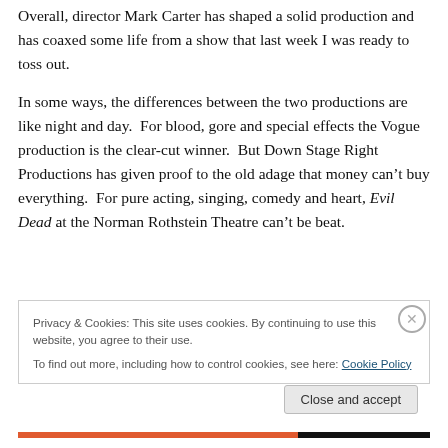Overall, director Mark Carter has shaped a solid production and has coaxed some life from a show that last week I was ready to toss out.

In some ways, the differences between the two productions are like night and day.  For blood, gore and special effects the Vogue production is the clear-cut winner.  But Down Stage Right Productions has given proof to the old adage that money can't buy everything.  For pure acting, singing, comedy and heart, Evil Dead at the Norman Rothstein Theatre can't be beat.
Privacy & Cookies: This site uses cookies. By continuing to use this website, you agree to their use.
To find out more, including how to control cookies, see here: Cookie Policy